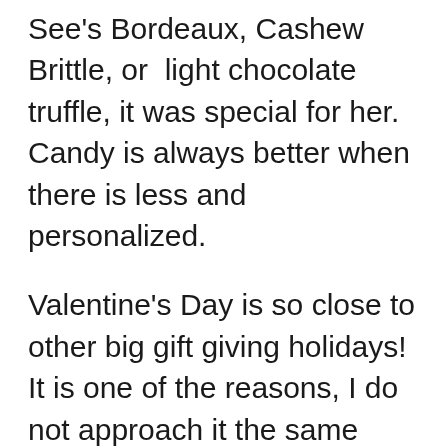See's Bordeaux, Cashew Brittle, or light chocolate truffle, it was special for her. Candy is always better when there is less and personalized.
Valentine's Day is so close to other big gift giving holidays! It is one of the reasons, I do not approach it the same way. Some people look for your typical gifts which is never right for everyone. Valentine's Day is not supposed to just a splurge on presents. Some people give engagement rings on Valentine's Day. Personally, I think that may be the least romantic